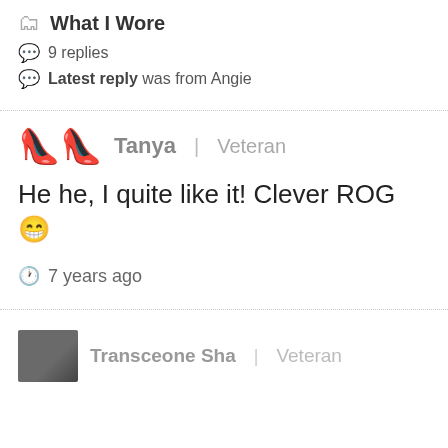What I Wore
9 replies
Latest reply was from Angie
Tanya | Veteran
He he, I quite like it! Clever ROG 😁
7 years ago
Transceone Sha | Veteran